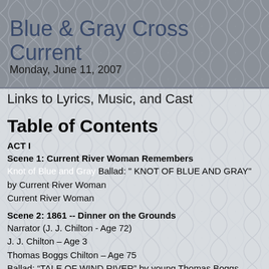Blue & Gray Cross Current
Monday, June 11, 2007
Links to Lyrics, Music, and Cast
Table of Contents
ACT I
Scene 1: Current River Woman Remembers
Knot of Blue and Gray Ballad: “ KNOT OF BLUE AND GRAY” by Current River Woman
Current River Woman
Scene 2: 1861 -- Dinner on the Grounds
Narrator (J. J. Chilton - Age 72)
J. J. Chilton – Age 3
Thomas Boggs Chilton – Age 75
Ballad: “TALE OF WIND RIVER” by young Thomas Boggs